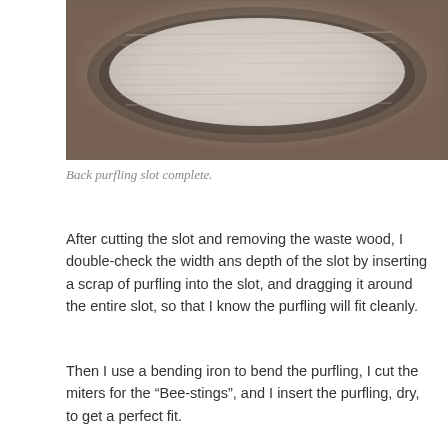[Figure (photo): Close-up photograph of a wooden instrument back showing the purfling slot routed around the edge, with a dark wooden border and light-colored interior wood grain visible.]
Back purfling slot complete.
After cutting the slot and removing the waste wood, I double-check the width ans depth of the slot by inserting a scrap of purfling into the slot, and dragging it around the entire slot, so that I know the purfling will fit cleanly.
Then I use a bending iron to bend the purfling, I cut the miters for the “Bee-stings”, and I insert the purfling, dry, to get a perfect fit.